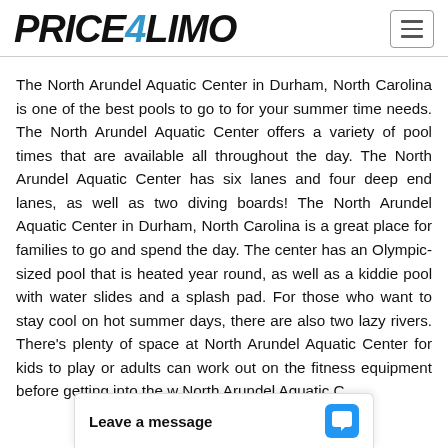PRICE4LIMO
The North Arundel Aquatic Center in Durham, North Carolina is one of the best pools to go to for your summer time needs. The North Arundel Aquatic Center offers a variety of pool times that are available all throughout the day. The North Arundel Aquatic Center has six lanes and four deep end lanes, as well as two diving boards! The North Arundel Aquatic Center in Durham, North Carolina is a great place for families to go and spend the day. The center has an Olympic-sized pool that is heated year round, as well as a kiddie pool with water slides and a splash pad. For those who want to stay cool on hot summer days, there are also two lazy rivers. There's plenty of space at North Arundel Aquatic Center for kids to play or adults can work out on the fitness equipment before getting into the w... North Arundel Aquatic C...